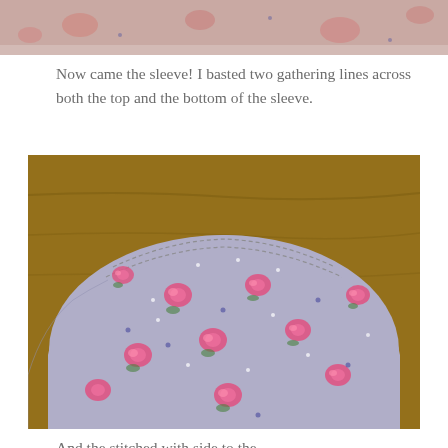[Figure (photo): Top cropped photo showing floral fabric with pink roses on a light background, partially visible at top of page]
Now came the sleeve! I basted two gathering lines across both the top and the bottom of the sleeve.
[Figure (photo): Close-up photo of lavender/grey fabric with pink rose floral print and small dots, showing the curved top of a sleeve with two basting stitching lines visible near the edge, laid on a wooden surface]
And the stitched with side to the...